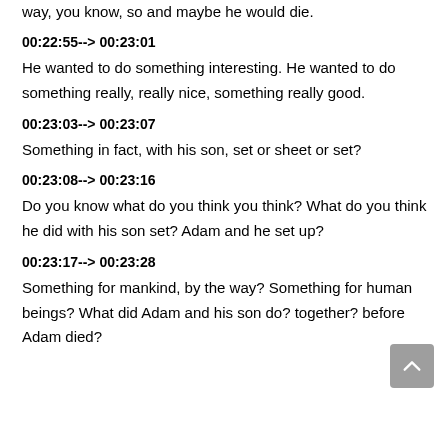way, you know, so and maybe he would die.
00:22:55--> 00:23:01
He wanted to do something interesting. He wanted to do something really, really nice, something really good.
00:23:03--> 00:23:07
Something in fact, with his son, set or sheet or set?
00:23:08--> 00:23:16
Do you know what do you think you think? What do you think he did with his son set? Adam and he set up?
00:23:17--> 00:23:28
Something for mankind, by the way? Something for human beings? What did Adam and his son do? together? before Adam died?